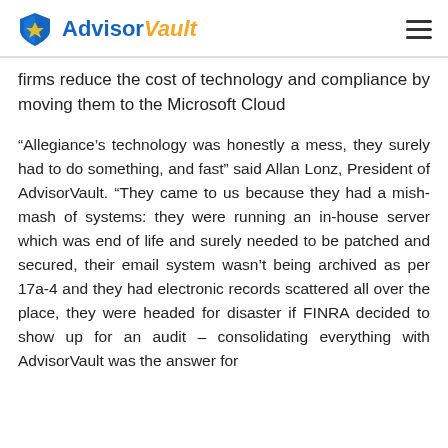AdvisorVault
firms reduce the cost of technology and compliance by moving them to the Microsoft Cloud
“Allegiance’s technology was honestly a mess, they surely had to do something, and fast” said Allan Lonz, President of AdvisorVault. “They came to us because they had a mish-mash of systems: they were running an in-house server which was end of life and surely needed to be patched and secured, their email system wasn’t being archived as per 17a-4 and they had electronic records scattered all over the place, they were headed for disaster if FINRA decided to show up for an audit – consolidating everything with AdvisorVault was the answer for